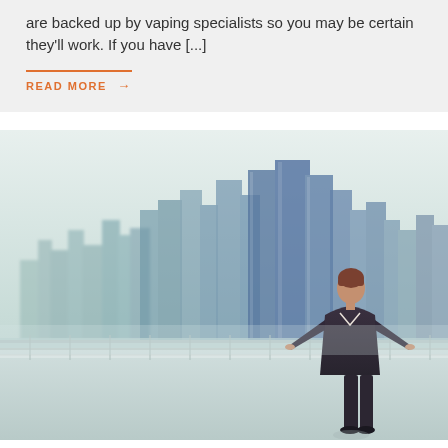are backed up by vaping specialists so you may be certain they'll work. If you have [...]
READ MORE →
[Figure (photo): A businessman in a dark suit stands on a high-rise balcony with metal railings, viewed from behind, looking out over a modern city skyline with tall glass buildings. The scene has a misty, light-toned sky.]